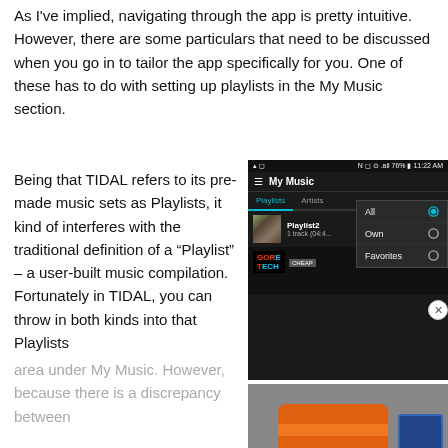As I've implied, navigating through the app is pretty intuitive. However, there are some particulars that need to be discussed when you go in to tailor the app specifically for you. One of these has to do with setting up playlists in the My Music section.
Being that TIDAL refers to its pre-made music sets as Playlists, it kind of interferes with the traditional definition of a “Playlist” – a user-built music compilation. Fortunately in TIDAL, you can throw in both kinds into that Playlists area under My Music. However, because there is a discrepancy between
[Figure (screenshot): Screenshot of TIDAL app showing My Music section with a dropdown menu displaying All, Own, Favorites options, and a Playlists tab showing Playlist2 with 1 track. Below is a photo of an orange music player device.]